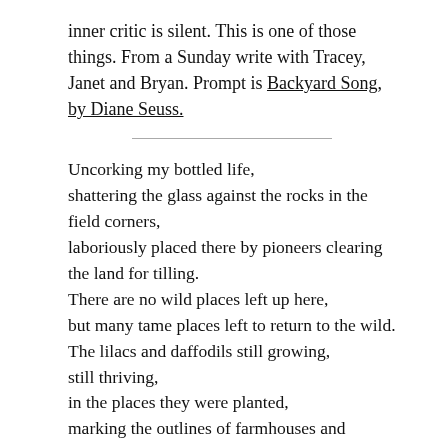inner critic is silent. This is one of those things. From a Sunday write with Tracey, Janet and Bryan. Prompt is Backyard Song, by Diane Seuss.
Uncorking my bottled life,
shattering the glass against the rocks in the field corners,
laboriously placed there by pioneers clearing the land for tilling.
There are no wild places left up here,
but many tame places left to return to the wild.
The lilacs and daffodils still growing,
still thriving,
in the places they were planted,
marking the outlines of farmhouses and ordered gardens now decades overgrown.